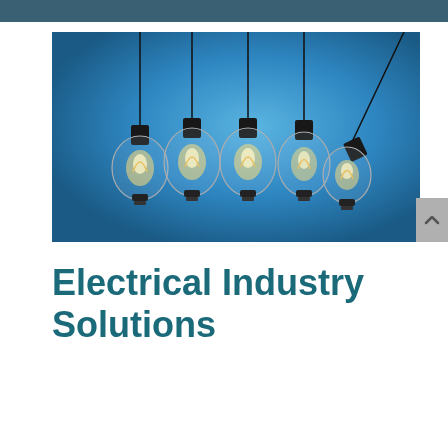[Figure (photo): Five Edison-style incandescent light bulbs hanging from black cords against a blue gradient background. Four bulbs hang straight down vertically and one on the right swings outward at an angle, like a Newton's cradle. The bulbs glow with warm filament light.]
Electrical Industry Solutions